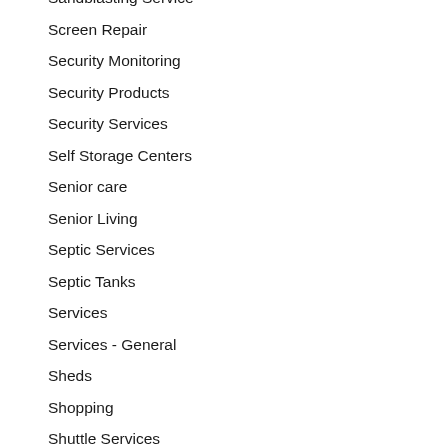Sandblasting Service
Screen Repair
Security Monitoring
Security Products
Security Services
Self Storage Centers
Senior care
Senior Living
Septic Services
Septic Tanks
Services
Services - General
Sheds
Shopping
Shuttle Services
Skills